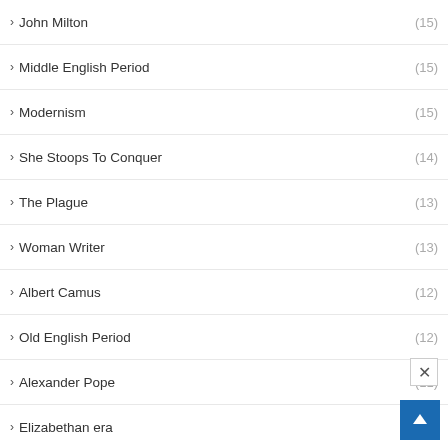› John Milton (15)
› Middle English Period (15)
› Modernism (15)
› She Stoops To Conquer (14)
› The Plague (13)
› Woman Writer (13)
› Albert Camus (12)
› Old English Period (12)
› Alexander Pope (11)
› Elizabethan era (10)
› Paradise Lost (10)
› Renaissance (9)
› Marlowe